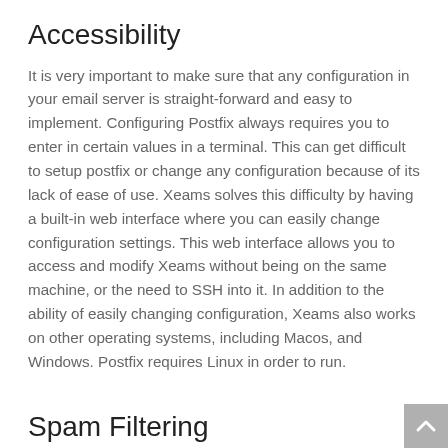Accessibility
It is very important to make sure that any configuration in your email server is straight-forward and easy to implement. Configuring Postfix always requires you to enter in certain values in a terminal. This can get difficult to setup postfix or change any configuration because of its lack of ease of use. Xeams solves this difficulty by having a built-in web interface where you can easily change configuration settings. This web interface allows you to access and modify Xeams without being on the same machine, or the need to SSH into it. In addition to the ability of easily changing configuration, Xeams also works on other operating systems, including Macos, and Windows. Postfix requires Linux in order to run.
Spam Filtering
No one likes to get constant spam emails that fill up their